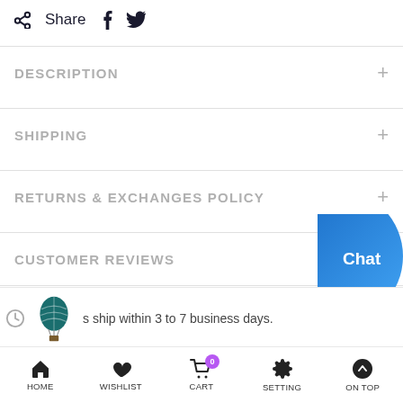Share
DESCRIPTION
SHIPPING
RETURNS & EXCHANGES POLICY
CUSTOMER REVIEWS
s ship within 3 to 7 business days.
HOME  WISHLIST  CART  SETTING  ON TOP